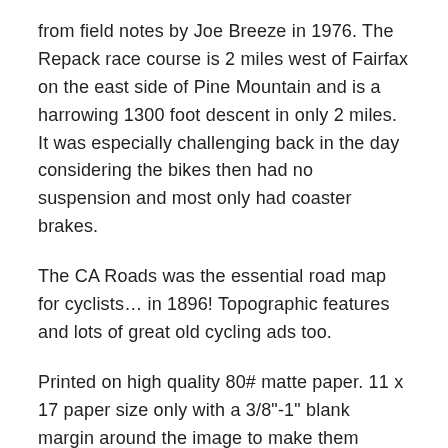from field notes by Joe Breeze in 1976. The Repack race course is 2 miles west of Fairfax on the east side of Pine Mountain and is a harrowing 1300 foot descent in only 2 miles. It was especially challenging back in the day considering the bikes then had no suspension and most only had coaster brakes.
The CA Roads was the essential road map for cyclists… in 1896! Topographic features and lots of great old cycling ads too.
Printed on high quality 80# matte paper. 11 x 17 paper size only with a 3/8"-1" blank margin around the image to make them suitable for matting and framing. Outer black edging (if shown) is to illustrate poster overall size only, actual posters do not have the black edging.
Make our posters even more special with available